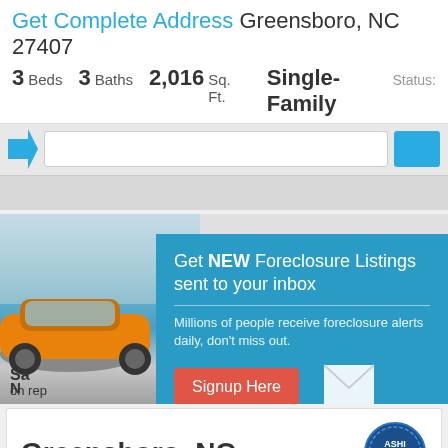Get Complete Address Greensboro, NC 27407
3 Beds  3 Baths  2,016 Sq. Ft.  Single-Family  Status:
[Figure (screenshot): Search bar UI element with arrow icon, text input field, and blue search button]
[Figure (photo): Advertisement showing an orange sports car with text 'Sa... on rep...' overlaid, partially obscured by a popup modal]
[Figure (infographic): Popup modal with teal background: 'Get NEW Foreclosure Listings sent to your inbox' with a red Signup Here button and mail icon. Text: Millions of people receive foreclosure alerts daily, don't miss out. Links: No Thanks | Remind Me Later]
Greensboro, NC